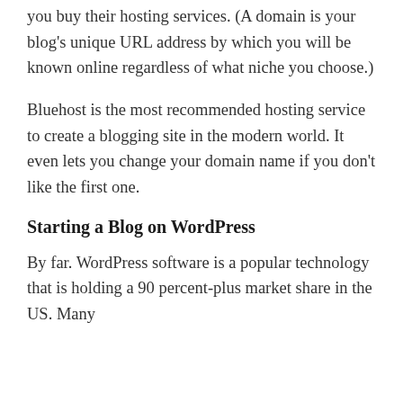you buy their hosting services. (A domain is your blog's unique URL address by which you will be known online regardless of what niche you choose.)
Bluehost is the most recommended hosting service to create a blogging site in the modern world. It even lets you change your domain name if you don't like the first one.
Starting a Blog on WordPress
By far. WordPress software is a popular technology that is holding a 90 percent-plus market share in the US. Many